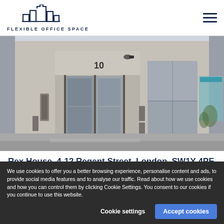FLEXIBLE OFFICE SPACE
[Figure (photo): Street-level exterior photo of Rex House, 4-12 Regent Street, London. Shows the building entrance with number 10 visible, glass doors, stone facade, and adjacent storefronts with teal/blue signage.]
Rex House, 4-12 Regent Street, London, SW1Y 4PE
- Serviced Office Space
We use cookies to offer you a better browsing experience, personalise content and ads, to provide social media features and to analyse our traffic. Read about how we use cookies and how you can control them by clicking Cookie Settings. You consent to our cookies if you continue to use this website.
Cookie settings
Accept cookies